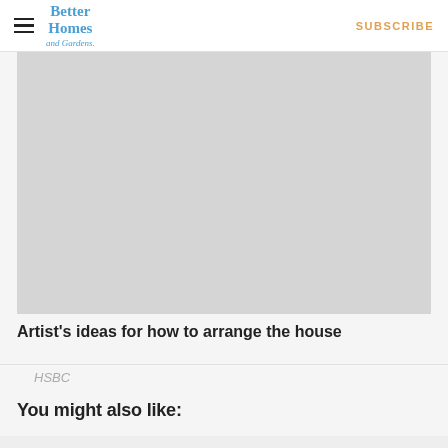Better Homes and Gardens | SUBSCRIBE
[Figure (photo): Large placeholder image area (light gray rectangle) showing an interior room arrangement concept.]
Artist's ideas for how to arrange the house
HSBC
You might also like: